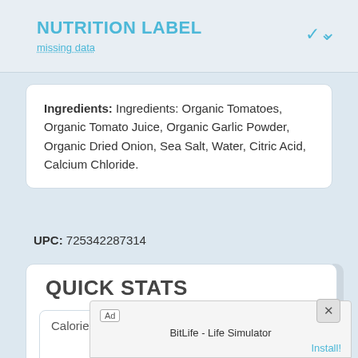NUTRITION LABEL
missing data
Ingredients: Ingredients: Organic Tomatoes, Organic Tomato Juice, Organic Garlic Powder, Organic Dried Onion, Sea Salt, Water, Citric Acid, Calcium Chloride.
UPC: 725342287314
QUICK STATS
Calories
30
Protein
1g